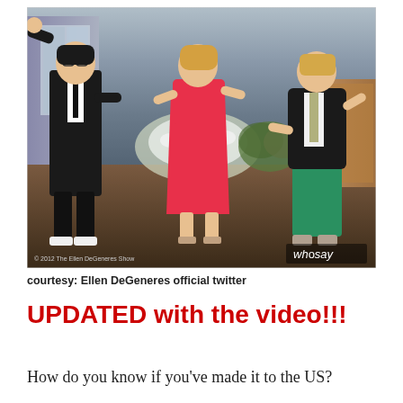[Figure (photo): Three people dancing on a TV show stage — a man in a black suit on the left with one arm raised, a woman in a pink/red dress in the center, and a woman in a black blazer and green pants on the right. The Ellen DeGeneres Show set is visible in the background. A 'whosay' watermark appears in the lower right, and a copyright notice '© 2012 The Ellen DeGeneres Show' appears in the lower left.]
courtesy: Ellen DeGeneres official twitter
UPDATED with the video!!!
How do you know if you've made it to the US?